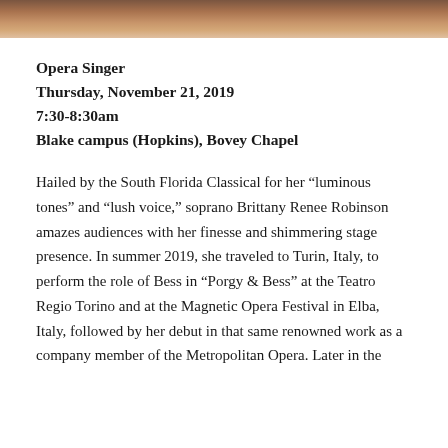[Figure (photo): Partial photo of a person at the top of the page, cropped]
Opera Singer
Thursday, November 21, 2019
7:30-8:30am
Blake campus (Hopkins), Bovey Chapel
Hailed by the South Florida Classical for her “luminous tones” and “lush voice,” soprano Brittany Renee Robinson amazes audiences with her finesse and shimmering stage presence. In summer 2019, she traveled to Turin, Italy, to perform the role of Bess in “Porgy & Bess” at the Teatro Regio Torino and at the Magnetic Opera Festival in Elba, Italy, followed by her debut in that same renowned work as a company member of the Metropolitan Opera. Later in the